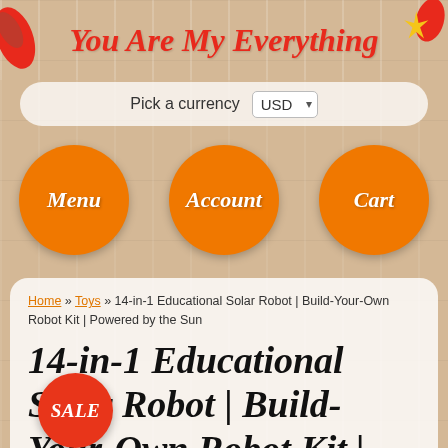You Are My Everything
Pick a currency USD
[Figure (other): Navigation menu with three orange circular buttons labeled Menu, Account, Cart]
Home » Toys » 14-in-1 Educational Solar Robot | Build-Your-Own Robot Kit | Powered by the Sun
14-in-1 Educational Solar Robot | Build-Your-Own Robot Kit | Powered by the Sun
[Figure (other): Orange circular SALE badge]